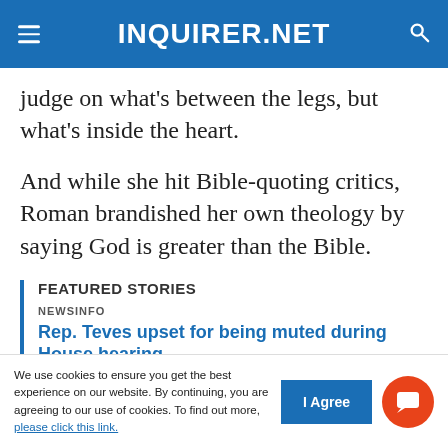INQUIRER.NET
judge on what's between the legs, but what's inside the heart.
And while she hit Bible-quoting critics, Roman brandished her own theology by saying God is greater than the Bible.
FEATURED STORIES
NEWSINFO
Rep. Teves upset for being muted during House hearing
NEWSINFO
We use cookies to ensure you get the best experience on our website. By continuing, you are agreeing to our use of cookies. To find out more, please click this link.